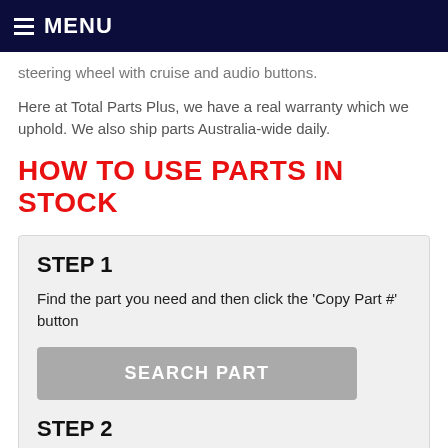MENU
steering wheel with cruise and audio buttons.
Here at Total Parts Plus, we have a real warranty which we uphold. We also ship parts Australia-wide daily.
HOW TO USE PARTS IN STOCK
STEP 1
Find the part you need and then click the 'Copy Part #' button
SEARCH PART
STEP 2